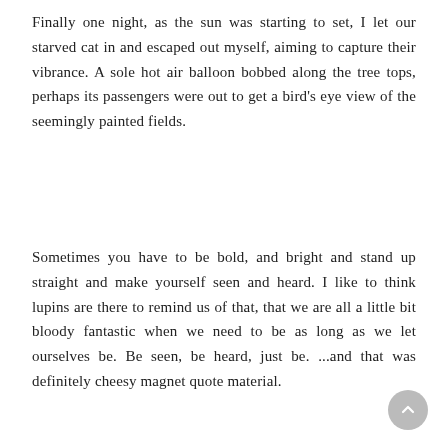Finally one night, as the sun was starting to set, I let our starved cat in and escaped out myself, aiming to capture their vibrance. A sole hot air balloon bobbed along the tree tops, perhaps its passengers were out to get a bird's eye view of the seemingly painted fields.
Sometimes you have to be bold, and bright and stand up straight and make yourself seen and heard. I like to think lupins are there to remind us of that, that we are all a little bit bloody fantastic when we need to be as long as we let ourselves be. Be seen, be heard, just be. ...and that was definitely cheesy magnet quote material.